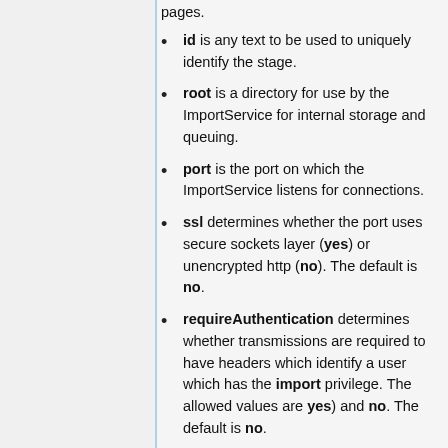id is any text to be used to uniquely identify the stage.
root is a directory for use by the ImportService for internal storage and queuing.
port is the port on which the ImportService listens for connections.
ssl determines whether the port uses secure sockets layer (yes) or unencrypted http (no). The default is no.
requireAuthentication determines whether transmissions are required to have headers which identify a user which has the import privilege. The allowed values are yes) and no. The default is no.
logConnections specifies whether